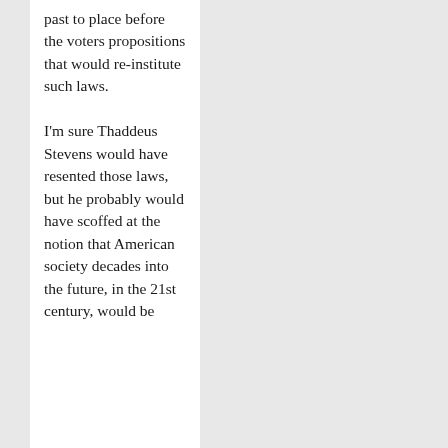past to place before the voters propositions that would re-institute such laws.

I'm sure Thaddeus Stevens would have resented those laws, but he probably would have scoffed at the notion that American society decades into the future, in the 21st century, would be